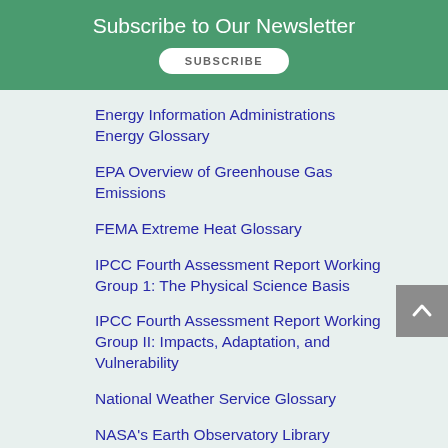Subscribe to Our Newsletter
Energy Information Administrations Energy Glossary
EPA Overview of Greenhouse Gas Emissions
FEMA Extreme Heat Glossary
IPCC Fourth Assessment Report Working Group 1: The Physical Science Basis
IPCC Fourth Assessment Report Working Group II: Impacts, Adaptation, and Vulnerability
National Weather Service Glossary
NASA's Earth Observatory Library
UNFCCC glossaries